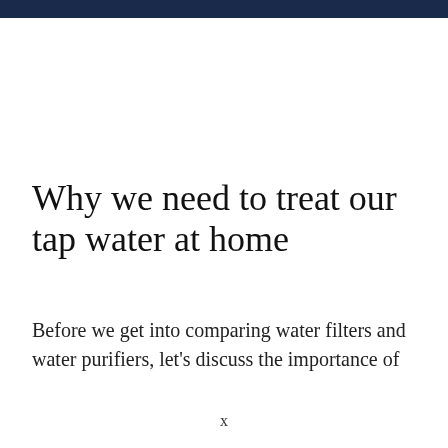Why we need to treat our tap water at home
Before we get into comparing water filters and water purifiers, let's discuss the importance of
x